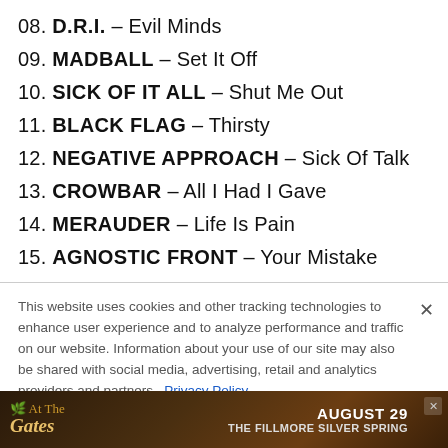08. D.R.I. - Evil Minds
09. MADBALL - Set It Off
10. SICK OF IT ALL - Shut Me Out
11. BLACK FLAG - Thirsty
12. NEGATIVE APPROACH - Sick Of Talk
13. CROWBAR - All I Had I Gave
14. MERAUDER - Life Is Pain
15. AGNOSTIC FRONT - Your Mistake
This website uses cookies and other tracking technologies to enhance user experience and to analyze performance and traffic on our website. Information about your use of our site may also be shared with social media, advertising, retail and analytics providers and partners. Privacy Policy
[Figure (screenshot): Advertisement banner for At The Gates concert, August 29, The Fillmore Silver Spring]